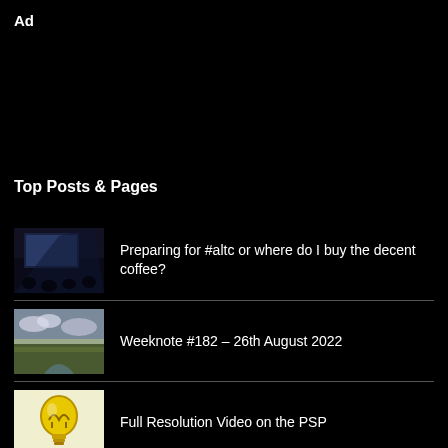Ad
Top Posts & Pages
Preparing for #altc or where do I buy the decent coffee?
Weeknote #182 – 26th August 2022
Full Resolution Video on the PSP
Back from leave – Weeknote #181 – 19th August 2022
EdTech 2010, some thoughts